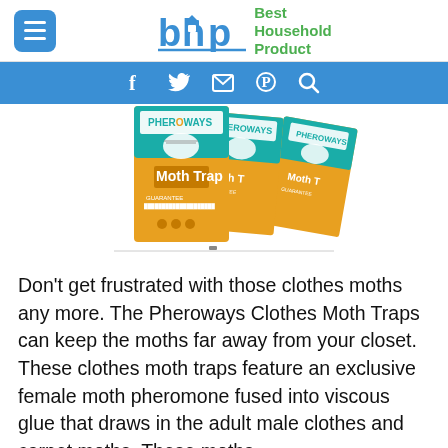[Figure (logo): Best Household Product (bhp) logo with blue menu button on left and BHP text logo with green 'Best Household Product' text on right]
[Figure (infographic): Blue social media bar with Facebook, Twitter, Email, Pinterest, and Search icons in white]
[Figure (photo): Multiple Pheroways Moth Trap product boxes fanned out, showing teal and orange/yellow packaging with 'Moth Trap' text]
Don't get frustrated with those clothes moths any more. The Pheroways Clothes Moth Traps can keep the moths far away from your closet. These clothes moth traps feature an exclusive female moth pheromone fused into viscous glue that draws in the adult male clothes and carpet moths. These moths